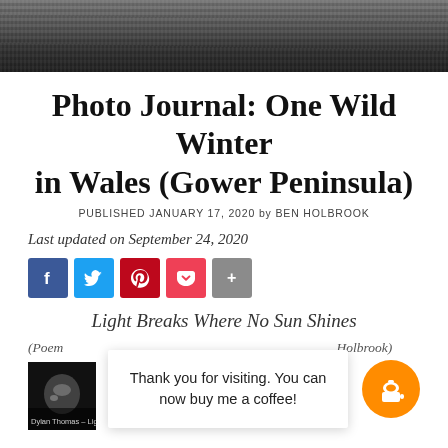[Figure (photo): Dark rocky landscape photo used as hero banner at the top of the article page]
Photo Journal: One Wild Winter in Wales (Gower Peninsula)
PUBLISHED JANUARY 17, 2020 by BEN HOLBROOK
Last updated on September 24, 2020
[Figure (infographic): Social share buttons: Facebook, Twitter, Pinterest, Pocket, More (+)]
Light Breaks Where No Sun Shines
(Poem ... Holbrook)
[Figure (photo): Circular thumbnail of a goat or sheep with book caption: Dylan Thomas – Light Breaks Whe...]
Thank you for visiting. You can now buy me a coffee!